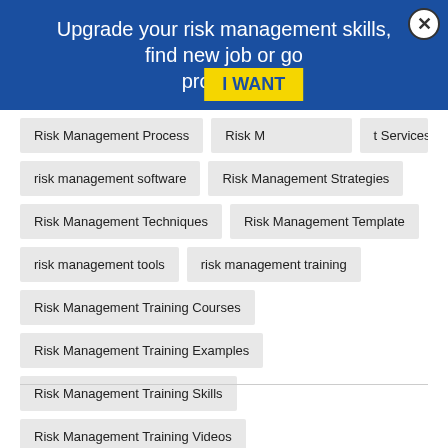[Figure (screenshot): Blue banner advertisement overlay with text 'Upgrade your risk management skills, find new job or go promoted' and a yellow 'I WANT' button and a close (X) button]
Risk Management Process
Risk Management Services
risk management software
Risk Management Strategies
Risk Management Techniques
Risk Management Template
risk management tools
risk management training
Risk Management Training Courses
Risk Management Training Examples
Risk Management Training Skills
Risk Management Training Videos